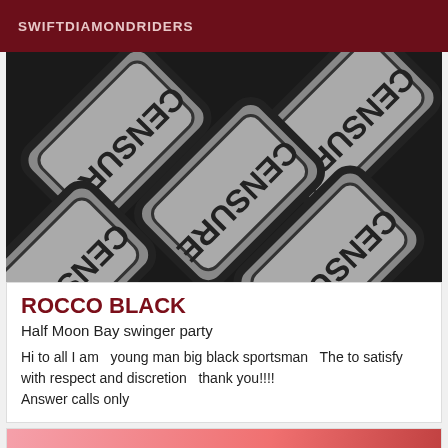SWIFTDIAMONDRIDERS
[Figure (photo): Close-up photo of multiple grey censure/censor stamp tiles arranged diagonally on a dark background, with text reading CENSURE on each tile]
ROCCO BLACK
Half Moon Bay swinger party
Hi to all I am   young man big black sportsman   The to satisfy with respect and discretion   thank you!!!!
Answer calls only
[Figure (photo): Partial view of a pink/red background, with a Verified badge in the bottom right corner]